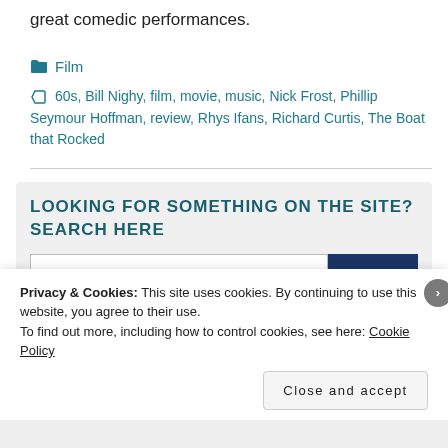great comedic performances.
Film
60s, Bill Nighy, film, movie, music, Nick Frost, Phillip Seymour Hoffman, review, Rhys Ifans, Richard Curtis, The Boat that Rocked
LOOKING FOR SOMETHING ON THE SITE? SEARCH HERE
Privacy & Cookies: This site uses cookies. By continuing to use this website, you agree to their use.
To find out more, including how to control cookies, see here: Cookie Policy
Close and accept